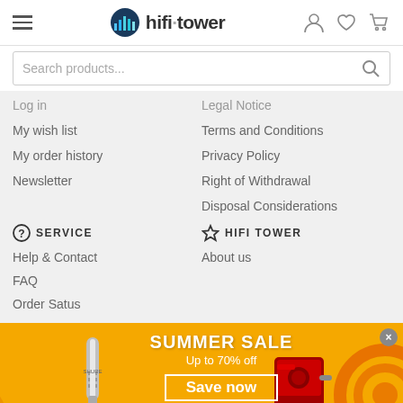hifi·tower
Search products...
Log in
My wish list
My order history
Newsletter
Legal Notice
Terms and Conditions
Privacy Policy
Right of Withdrawal
Disposal Considerations
SERVICE
Help & Contact
FAQ
Order Satus
HIFI TOWER
About us
[Figure (screenshot): Summer sale promotional banner with yellow/orange background, palm tree decorations, microphone and espresso machine products, text: SUMMER SALE Up to 70% off Save now]